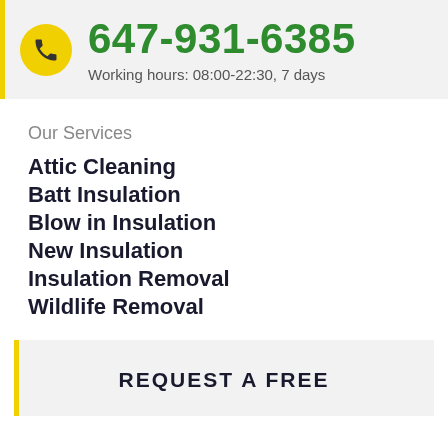647-931-6385
Working hours: 08:00-22:30, 7 days
Our Services
Attic Cleaning
Batt Insulation
Blow in Insulation
New Insulation
Insulation Removal
Wildlife Removal
REQUEST A FREE